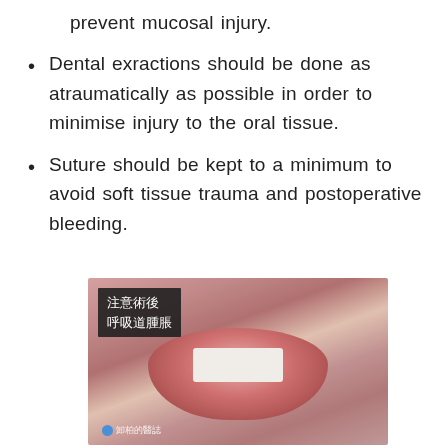prevent mucosal injury.
Dental exractions should be done as atraumatically as possible in order to minimise injury to the oral tissue.
Suture should be kept to a minimum to avoid soft tissue trauma and postoperative bleeding.
[Figure (photo): Clinical photo of a child's mouth showing swollen, inflamed lips with teeth visible. Overlay text in Chinese characters reads '注意術後呼吸道腫脹' (Beware of postoperative airway swelling). Small watermark at bottom left with circular icon and Chinese text.]